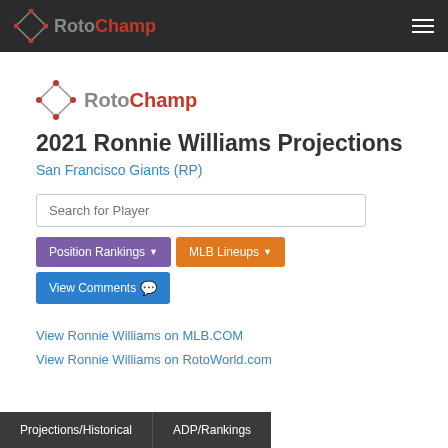RotoChamp navigation bar
[Figure (logo): RotoChamp diamond logo with text in nav bar]
[Figure (logo): RotoChamp diamond logo with text in content area]
2021 Ronnie Williams Projections
San Francisco Giants (RP)
Search for Player
Position Rankings ▼
MLB Lineups ▼
View Comments
View Ronnie Williams on MLB.COM
View Ronnie Williams on RotoWorld.com
Projections/Historical
ADP/Rankings